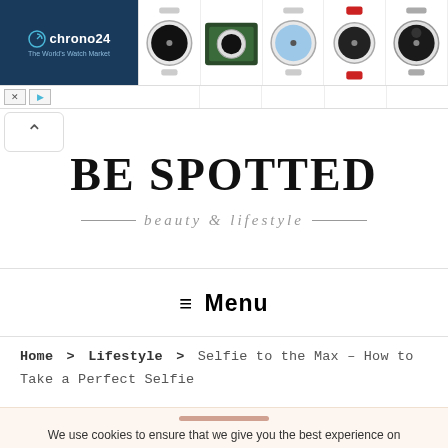[Figure (screenshot): Chrono24 advertisement banner with logo and watch thumbnail images]
BE SPOTTED
— beauty & lifestyle —
≡ Menu
Home > Lifestyle > Selfie to the Max – How to Take a Perfect Selfie
We use cookies to ensure that we give you the best experience on